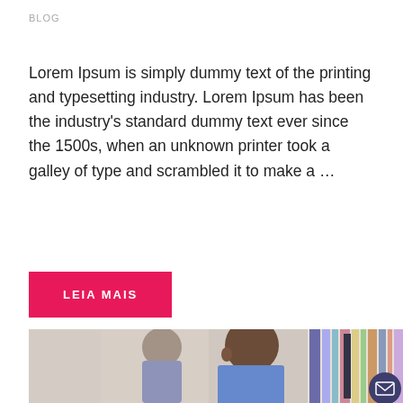BLOG
Lorem Ipsum is simply dummy text of the printing and typesetting industry. Lorem Ipsum has been the industry's standard dummy text ever since the 1500s, when an unknown printer took a galley of type and scrambled it to make a …
LEIA MAIS
[Figure (photo): A young student in a library, viewed from the side, with bookshelves in the background. Another student is visible out of focus behind him.]